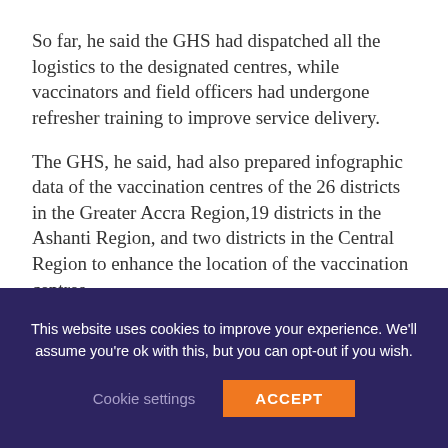So far, he said the GHS had dispatched all the logistics to the designated centres, while vaccinators and field officers had undergone refresher training to improve service delivery.
The GHS, he said, had also prepared infographic data of the vaccination centres of the 26 districts in the Greater Accra Region, 19 districts in the Ashanti Region, and two districts in the Central Region to enhance the location of the vaccination centres.
He noted that the side effects experienced during the first jab, could still be felt, adding that, it takes
This website uses cookies to improve your experience. We'll assume you're ok with this, but you can opt-out if you wish.
Cookie settings
ACCEPT